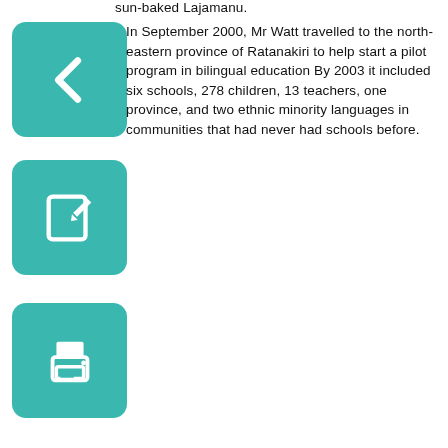sun-baked Lajamanu.
In September 2000, Mr Watt travelled to the north-eastern province of Ratanakiri to help start a pilot program in bilingual education By 2003 it included six schools, 278 children, 13 teachers, one province, and two ethnic minority languages in communities that had never had schools before.
[Figure (other): Teal rounded square button with white left arrow icon (back navigation)]
[Figure (other): Teal rounded square button with white edit/pencil icon]
[Figure (other): Teal rounded square button with white printer icon]
[Figure (other): Teal rounded square button with white PDF document icon]